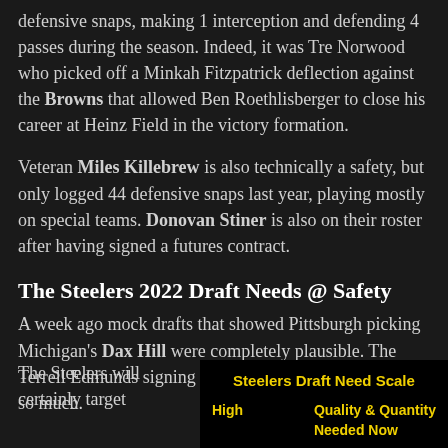defensive snaps, making 1 interception and defending 4 passes during the season. Indeed, it was Tre Norwood who picked off a Minkah Fitzpatrick deflection against the Browns that allowed Ben Roethlisberger to close his career at Heinz Field in the victory formation.
Veteran Miles Killebrew is also technically a safety, but only logged 44 defensive snaps last year, playing mostly on special teams. Donovan Stiner is also on their roster after having signed a futures contract.
The Steelers 2022 Draft Needs @ Safety
A week ago mock drafts that showed Pittsburgh picking Michigan's Dax Hill were completely plausible. The Terrell Edmunds signing changes that equation, but only so much.
The Steelers will certainly target
| High | Quality & Quantity Needed Now |
| --- | --- |